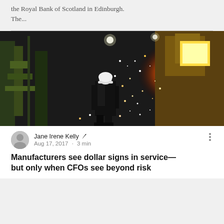the Royal Bank of Scotland in Edinburgh. The...
[Figure (photo): Industrial worker in hard hat standing in front of molten metal sparks in a dark factory/steel mill environment.]
Jane Irene Kelly  ✏  Aug 17, 2017 · 3 min
Manufacturers see dollar signs in service—but only when CFOs see beyond risk